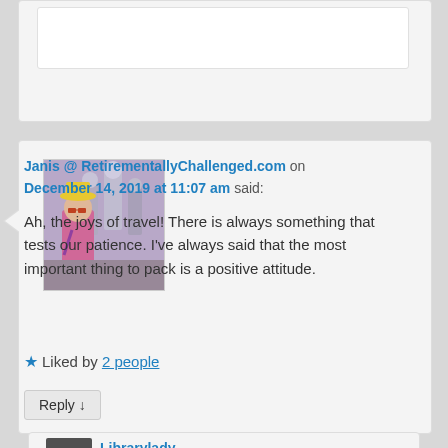[Figure (photo): Partial top comment card, mostly cut off at top of page]
[Figure (photo): Avatar photo of Janis showing a person in front of skeleton figures/Day of the Dead decorations]
Janis @ RetirementallyChallenged.com on December 14, 2019 at 11:07 am said:
Ah, the joys of travel! There is always something that tests our patience. I've always said that the most important thing to pack is a positive attitude.
★ Liked by 2 people
Reply ↓
Librarylady